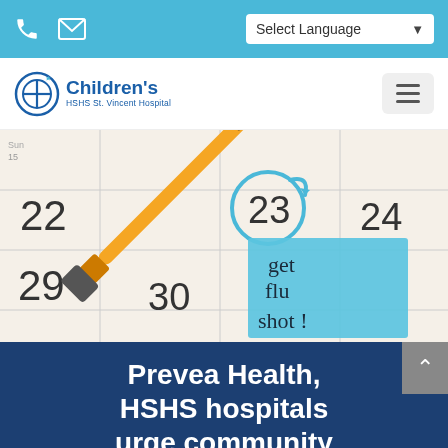Select Language
[Figure (logo): Children's HSHS St. Vincent Hospital logo with circular icon]
[Figure (photo): Calendar showing dates 22, 23 (circled in blue), 24, 29, 30 with a syringe/needle and a blue sticky note reading 'get flu shot!']
Prevea Health, HSHS hospitals urge community members to get